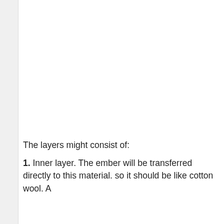The layers might consist of:
1. Inner layer. The ember will be transferred directly to this material. so it should be like cotton wool. A